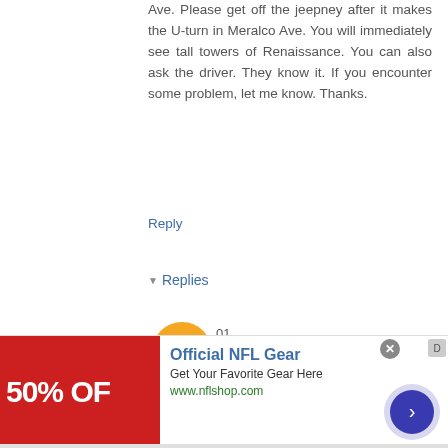Ave. Please get off the jeepney after it makes the U-turn in Meralco Ave. You will immediately see tall towers of Renaissance. You can also ask the driver. They know it. If you encounter some problem, let me know. Thanks.
Reply
Replies
01.
Unknown  14 March 2016 at 13:30
Hi! It's 2016 now, so I'm just asking again (in case there has been a change). Does this jeepney still pass by Renaissance?
Also, the U-turn you've mentioned: is that the one on Meralco X St.Paul
[Figure (screenshot): Advertisement banner for Official NFL Gear showing 50% OFF in white text on red background, with title 'Official NFL Gear', tagline 'Get Your Favorite Gear Here', URL 'www.nflshop.com', a close button, and a navigation arrow button.]